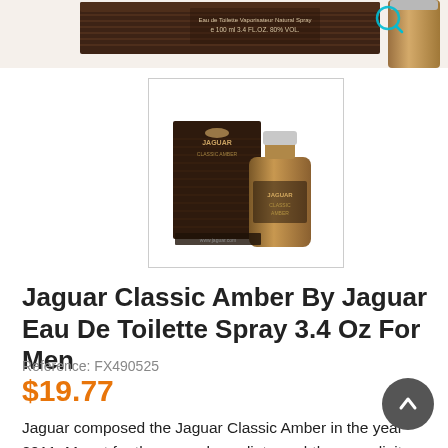[Figure (photo): Top cropped view of Jaguar Classic Amber cologne box (dark brown) and bottle (amber colored), partially visible at top of page]
[Figure (photo): Thumbnail product image of Jaguar Classic Amber by Jaguar — dark brown box with Jaguar leaping cat logo and an amber/tan colored glass bottle beside it, bordered by a thin gray rectangle]
Jaguar Classic Amber By Jaguar Eau De Toilette Spray 3.4 Oz For Men
Reference: FX490525
$19.77
Jaguar composed the Jaguar Classic Amber in the year 2011. Meant for the men who radiates subtle masculinity and warmth, the fragrance posseses a fine amber tone. Fresh essences of